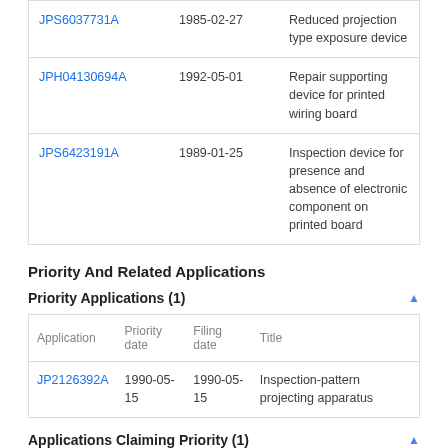|  | Date | Title |
| --- | --- | --- |
| JPS6037731A | 1985-02-27 | Reduced projection type exposure device |
| JPH04130694A | 1992-05-01 | Repair supporting device for printed wiring board |
| JPS6423191A | 1989-01-25 | Inspection device for presence and absence of electronic component on printed board |
Priority And Related Applications
Priority Applications (1)
| Application | Priority date | Filing date | Title |
| --- | --- | --- | --- |
| JP2126392A | 1990-05-15 | 1990-05-15 | Inspection-pattern projecting apparatus |
Applications Claiming Priority (1)